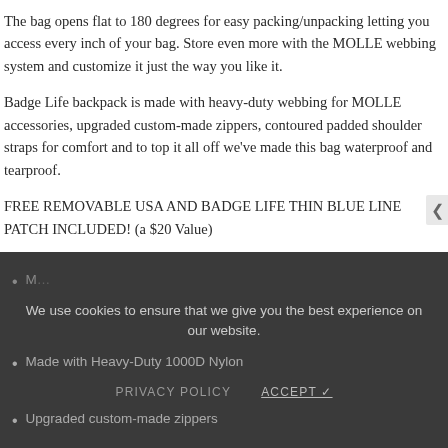The bag opens flat to 180 degrees for easy packing/unpacking letting you access every inch of your bag. Store even more with the MOLLE webbing system and customize it just the way you like it.
Badge Life backpack is made with heavy-duty webbing for MOLLE accessories, upgraded custom-made zippers, contoured padded shoulder straps for comfort and to top it all off we've made this bag waterproof and tearproof.
FREE REMOVABLE USA AND BADGE LIFE THIN BLUE LINE PATCH INCLUDED! (a $20 Value)
Highlights:
Made with Heavy-Duty 1000D Nylon
Upgraded custom-made zippers
We use cookies to ensure that we give you the best experience on our website.